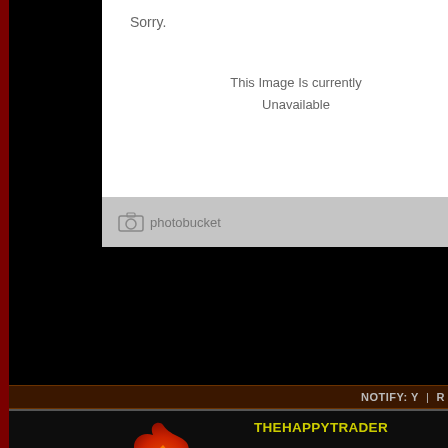[Figure (screenshot): Photobucket 'Sorry. This Image is currently Unavailable' placeholder image in white box with gray footer showing photobucket logo]
NOTIFY: Y  |  R
THEHAPPYTRADER
[Figure (illustration): Fairy Tail flame bird logo icon in orange, red and yellow gradient]
Christianity is opposed to the worship of idols... if that is what you are implying from that video. It seems the clergy folks of that church aren't ready to jump to conclusions. My general impression this clip was more of a 'hey guys look at this, and here's a question, pay respects to the weeping cross, Jesus Christ commands it!' I saw no evidence of that. The pilgrims led themselves there. The priest didn't even try to convince us, he just described the Vatican's process for sussing these things out.

I normally like your post (whether I agree or not) but frankly, that comment se... worthy of auraptor or kwicko), so I hope I'm misinterpreting.